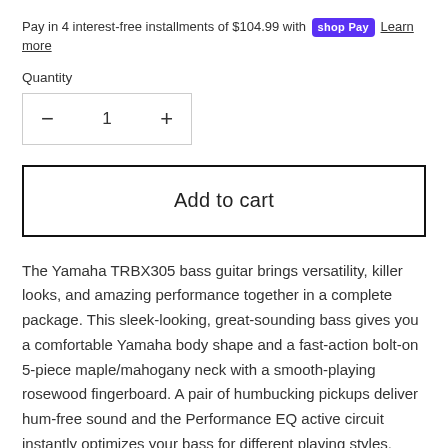Pay in 4 interest-free installments of $104.99 with shop Pay Learn more
Quantity
[Figure (other): Quantity selector with minus button, number 1, and plus button inside a bordered box]
[Figure (other): Add to cart button with thick border]
The Yamaha TRBX305 bass guitar brings versatility, killer looks, and amazing performance together in a complete package. This sleek-looking, great-sounding bass gives you a comfortable Yamaha body shape and a fast-action bolt-on 5-piece maple/mahogany neck with a smooth-playing rosewood fingerboard. A pair of humbucking pickups deliver hum-free sound and the Performance EQ active circuit instantly optimizes your bass for different playing styles. Factor in the Yamaha TRBX305's solid hardware and